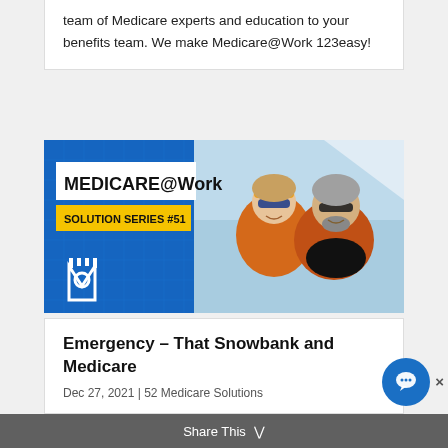team of Medicare experts and education to your benefits team. We make Medicare@Work 123easy!
[Figure (illustration): Medicare@Work Solution Series #51 branded banner image with two smiling older adults wearing orange jackets and sunglasses outdoors in a winter ski setting. Blue background on left with white Medicare@Work logo and yellow Solution Series #51 badge.]
Emergency – That Snowbank and Medicare
Dec 27, 2021 | 52 Medicare Solutions
Share This